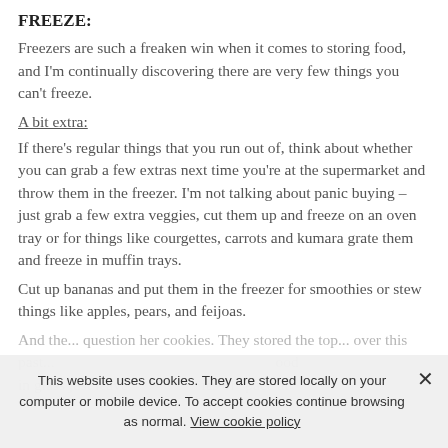FREEZE:
Freezers are such a freaken win when it comes to storing food, and I'm continually discovering there are very few things you can't freeze.
A bit extra:
If there's regular things that you run out of, think about whether you can grab a few extras next time you're at the supermarket and throw them in the freezer. I'm not talking about panic buying – just grab a few extra veggies, cut them up and freeze on an oven tray or for things like courgettes, carrots and kumara grate them and freeze in muffin trays.
Cut up bananas and put them in the freezer for smoothies or stew things like apples, pears, and feijoas.
And the... question her cookies. They stored the top... over this past... in glass just leave... o... ies of space at...
This website uses cookies. They are stored locally on your computer or mobile device. To accept cookies continue browsing as normal. View cookie policy